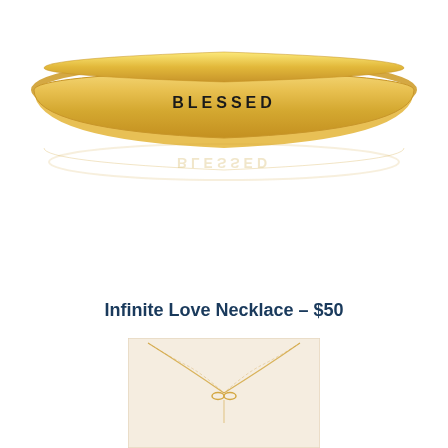[Figure (photo): Gold bangle bracelet engraved with the word BLESSED, shown with its reflection on a white background]
Infinite Love Necklace – $50
[Figure (photo): Gold delicate chain necklace on a white/cream background]